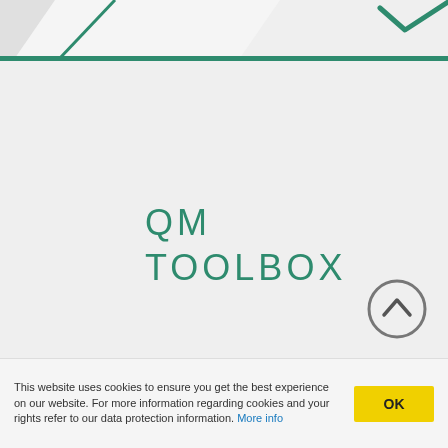[Figure (illustration): Top decorative graphic with white and gray diagonal shapes and green checkmark/arrow on green horizontal bar]
QM TOOLBOX
[Figure (illustration): Circular scroll-up button with upward chevron arrow, gray outline]
This website uses cookies to ensure you get the best experience on our website. For more information regarding cookies and your rights refer to our data protection information. More info